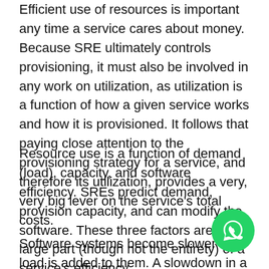Efficient use of resources is important any time a service cares about money. Because SRE ultimately controls provisioning, it must also be involved in any work on utilization, as utilization is a function of how a given service works and how it is provisioned. It follows that paying close attention to the provisioning strategy for a service, and therefore its utilization, provides a very, very big lever on the service's total costs.
Resource use is a function of demand (load), capacity, and software efficiency. SREs predict demand, provision capacity, and can modify the software. These three factors are a large part (though not the entirety) of a service's efficiency
Software systems become slower as load is added to them. A slowdown in a service equates to a loss of capacity. At